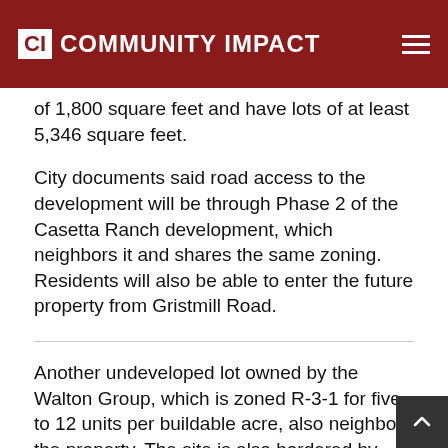CI COMMUNITY IMPACT
of 1,800 square feet and have lots of at least 5,346 square feet.
City documents said road access to the development will be through Phase 2 of the Casetta Ranch development, which neighbors it and shares the same zoning. Residents will also be able to enter the future property from Gristmill Road.
Another undeveloped lot owned by the Walton Group, which is zoned R-3-1 for five to 12 units per buildable acre, also neighbors the property. The site is also bordered by agricultural land outside of Kyle city limits.